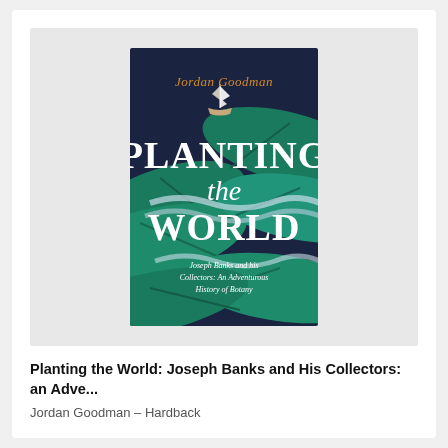[Figure (photo): Book cover of 'Planting the World' by Jordan Goodman. Dark navy background with large tropical green leaves and a small sailing ship. Title text 'PLANTING the WORLD' in large white serif font. Subtitle 'Joseph Banks and his Collectors: An Adventurous History of Botany' in white italic. Author name 'Jordan Goodman' in orange italic at top.]
Planting the World: Joseph Banks and His Collectors: an Adve...
Jordan Goodman – Hardback